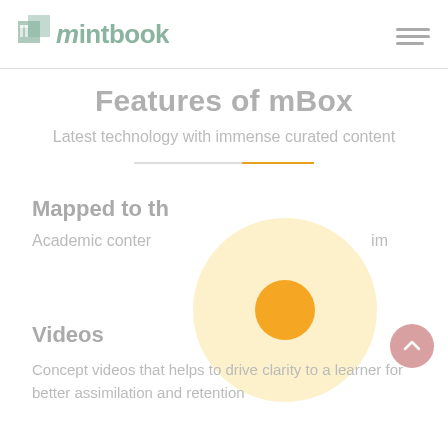mintbook
Features of mBox
Latest technology with immense curated content
Mapped to th
Academic conter                                           im
[Figure (illustration): Large light yellow circle with a smaller solid orange circle in the center]
Videos
Concept videos that helps to drive clarity to a learner for better assimilation and retention